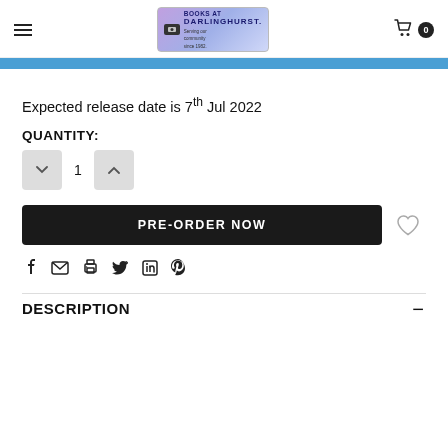Books at Darlinghurst — Serving our community since 1982. Cart: 0
Expected release date is 7th Jul 2022
QUANTITY:
1
PRE-ORDER NOW
Share icons: Facebook, Email, Print, Twitter, LinkedIn, Pinterest
DESCRIPTION